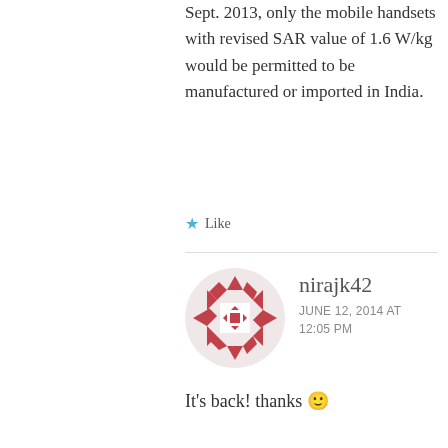Sept. 2013, only the mobile handsets with revised SAR value of 1.6 W/kg would be permitted to be manufactured or imported in India.
★ Like
nirajk42
JUNE 12, 2014 AT 12:05 PM
It's back! thanks 🙂